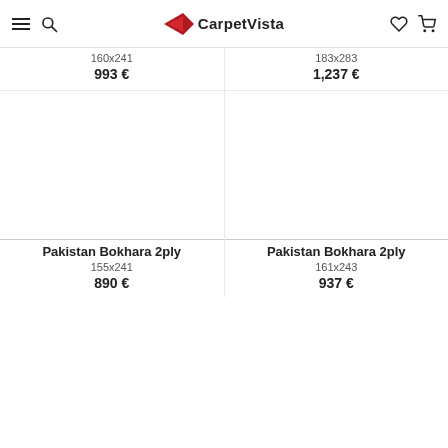CarpetVista
160x241
993 €
183x283
1,237 €
Pakistan Bokhara 2ply
155x241
890 €
Pakistan Bokhara 2ply
161x243
937 €